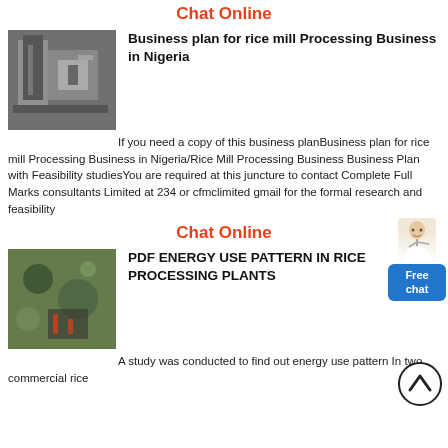Chat Online
[Figure (photo): Industrial rice mill machinery in a factory setting]
Business plan for rice mill Processing Business in Nigeria
If you need a copy of this business planBusiness plan for rice mill Processing Business in Nigeria/Rice Mill Processing Business Business Plan with Feasibility studiesYou are required at this juncture to contact Complete Full Marks consultants Limited at 234 or cfmclimited gmail for the formal research and feasibility
Chat Online
[Figure (photo): Close-up of machinery or materials in a rice processing plant]
PDF ENERGY USE PATTERN IN RICE PROCESSING PLANTS
A study was conducted to find out energy use pattern In two commercial rice
[Figure (other): Free chat widget with person icon and blue chat button]
[Figure (other): Up arrow circular navigation button]